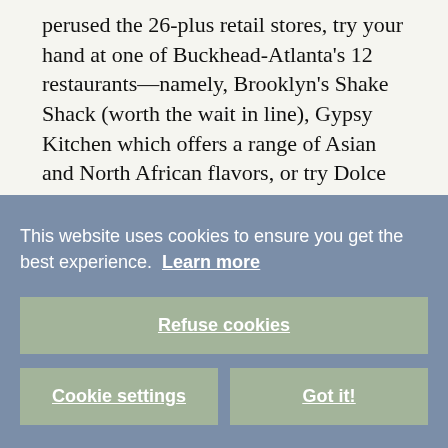perused the 26-plus retail stores, try your hand at one of Buckhead-Atlanta's 12 restaurants—namely, Brooklyn's Shake Shack (worth the wait in line), Gypsy Kitchen which offers a range of Asian and North African flavors, or try Dolce [Italian], all three with lively rooftop experiences.
This website uses cookies to ensure you get the best experience. Learn more
Refuse cookies
Cookie settings
Got it!
[Figure (photo): Partial photo strip visible at bottom of page, appears to show a restaurant or retail interior]